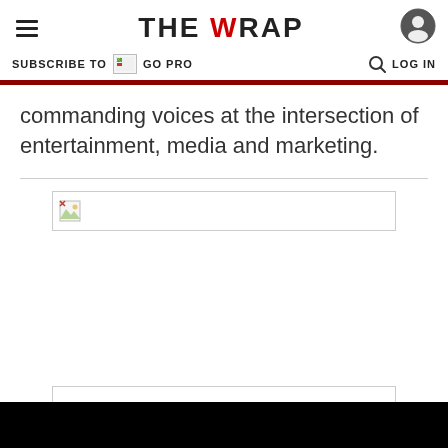THE WRAP — navigation header with hamburger menu, logo, and user icon
SUBSCRIBE TO GO PRO | LOG IN
commanding voices at the intersection of entertainment, media and marketing.
[Figure (other): Broken/placeholder image spanning width of content area]
[Figure (other): Broken/placeholder image at bottom of content area]
[Figure (other): Black bar at very bottom of page]